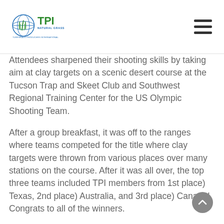TPI Natural Grass – Turfgrass Producers International (logo and navigation)
Attendees sharpened their shooting skills by taking aim at clay targets on a scenic desert course at the Tucson Trap and Skeet Club and Southwest Regional Training Center for the US Olympic Shooting Team.
After a group breakfast, it was off to the ranges where teams competed for the title where clay targets were thrown from various places over many stations on the course. After it was all over, the top three teams included TPI members from 1st place) Texas, 2nd place) Australia, and 3rd place) Canada! Congrats to all of the winners.
Another busload of attendees visited